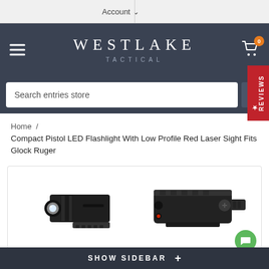Account
[Figure (screenshot): Westlake Tactical website navigation header with hamburger menu, brand name WESTLAKE TACTICAL, cart icon with 0 badge, search bar, and reviews tab]
Home / Compact Pistol LED Flashlight With Low Profile Red Laser Sight Fits Glock Ruger
[Figure (photo): Product photo showing two views of a compact pistol LED flashlight with red laser sight - left shows front view with LED light, right shows side/top view showing rail mount]
SHOW SIDEBAR +